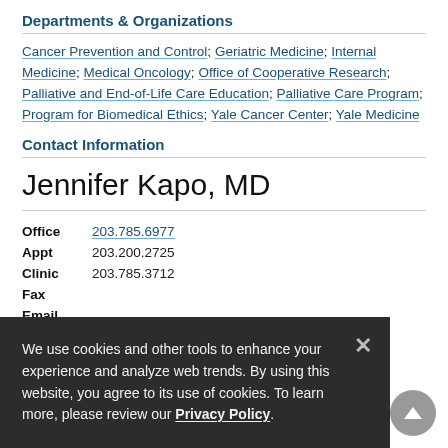Departments & Organizations
Cancer Prevention and Control; Geriatric Medicine; Internal Medicine; Medical Oncology; Office of Cooperative Research; Palliative and End-of-Life Care Education; Palliative Care Program; Program for Biomedical Ethics; Yale Cancer Center; Yale Medicine
Contact Information
Jennifer Kapo, MD
| Label | Value |
| --- | --- |
| Office | 203.785.6977 |
| Appt | 203.200.2725 |
| Clinic | 203.785.3712 |
| Fax |  |
| Email |  |
Patient Care Location
Yale Cancer Center
We use cookies and other tools to enhance your experience and analyze web trends. By using this website, you agree to its use of cookies. To learn more, please review our Privacy Policy.